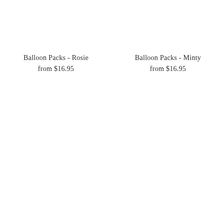Balloon Packs - Rosie
from $16.95
Balloon Packs - Minty
from $16.95